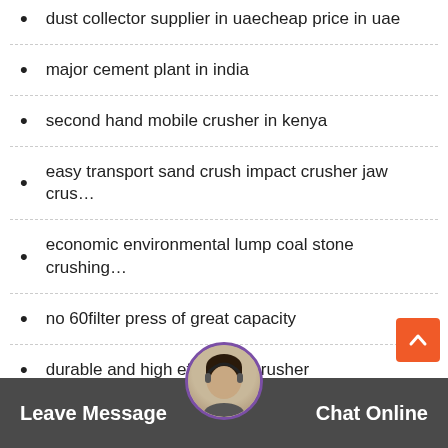dust collector supplier in uaecheap price in uae
major cement plant in india
second hand mobile crusher in kenya
easy transport sand crush impact crusher jaw crus…
economic environmental lump coal stone crushing…
no 60filter press of great capacity
durable and high efficiency crusher
Shaking Table Working Principle
Leave Message   Chat Online